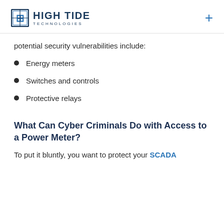HIGH TIDE TECHNOLOGIES
potential security vulnerabilities include:
Energy meters
Switches and controls
Protective relays
What Can Cyber Criminals Do with Access to a Power Meter?
To put it bluntly, you want to protect your SCADA